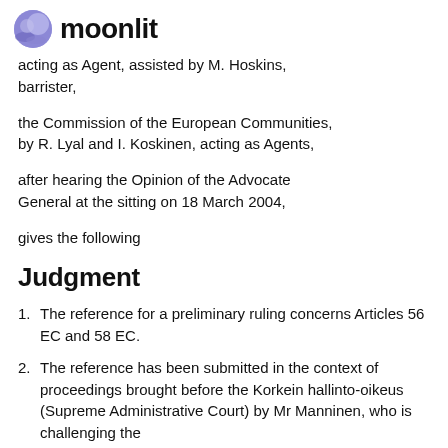moonlit
acting as Agent, assisted by M. Hoskins, barrister,
the Commission of the European Communities, by R. Lyal and I. Koskinen, acting as Agents,
after hearing the Opinion of the Advocate General at the sitting on 18 March 2004,
gives the following
Judgment
The reference for a preliminary ruling concerns Articles 56 EC and 58 EC.
The reference has been submitted in the context of proceedings brought before the Korkein hallinto-oikeus (Supreme Administrative Court) by Mr Manninen, who is challenging the